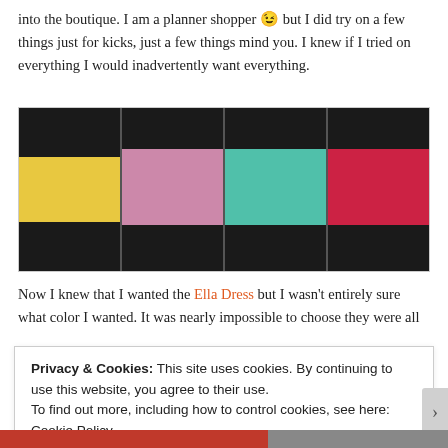into the boutique. I am a planner shopper 😉 but I did try on a few things just for kicks, just a few things mind you. I knew if I tried on everything I would inadvertently want everything.
[Figure (photo): Four photos of a woman trying on dresses in a boutique fitting room: yellow floral dress, pink floral dress, teal/turquoise floral dress, and a red bodycon dress.]
Now I knew that I wanted the Ella Dress but I wasn't entirely sure what color I wanted. It was nearly impossible to choose they were all
Privacy & Cookies: This site uses cookies. By continuing to use this website, you agree to their use.
To find out more, including how to control cookies, see here: Cookie Policy
Close and accept